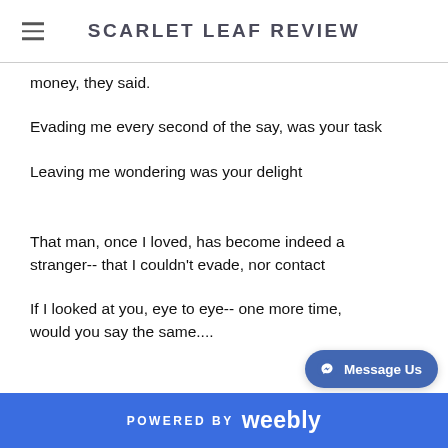SCARLET LEAF REVIEW
money, they said.
Evading me every second of the say, was your task
Leaving me wondering was your delight
That man, once I loved, has become indeed a stranger-- that I couldn't evade, nor contact
If I looked at you, eye to eye-- one more time, would you say the same....
Truest misery and torture was this, him hating me and I (myself), trying to love him again...
POWERED BY weebly